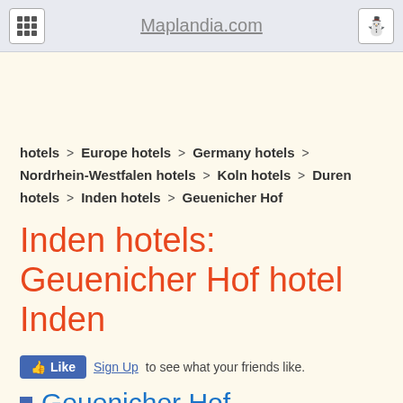Maplandia.com
hotels > Europe hotels > Germany hotels > Nordrhein-Westfalen hotels > Koln hotels > Duren hotels > Inden hotels > Geuenicher Hof
Inden hotels: Geuenicher Hof hotel Inden
Like Sign Up to see what your friends like.
Geuenicher Hof